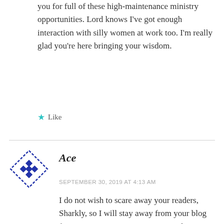you for full of these high-maintenance ministry opportunities. Lord knows I've got enough interaction with silly women at work too. I'm really glad you're here bringing your wisdom.
★ Like
Ace
SEPTEMBER 30, 2019 AT 4:13 AM
I do not wish to scare away your readers, Sharkly, so I will stay away from your blog from now on, so Swanny River can be at peace. I did tell you that me being respectful to him would make no difference – looks like I was right!! (I do